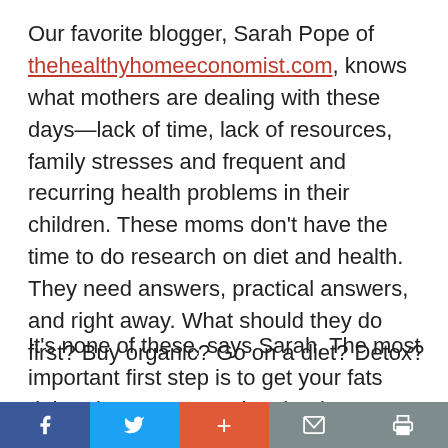Our favorite blogger, Sarah Pope of thehealthyhomeeconomist.com, knows what mothers are dealing with these days—lack of time, lack of resources, family stresses and frequent and recurring health problems in their children. These moms don't have the time to do research on diet and health. They need answers, practical answers, and right away. What should they do first? Buy organic? Go on a diet? Detox?
It's none of these, says Sarah. The most important first step is to get your fats right. That means getting the three most important
f  t  +  mail  print